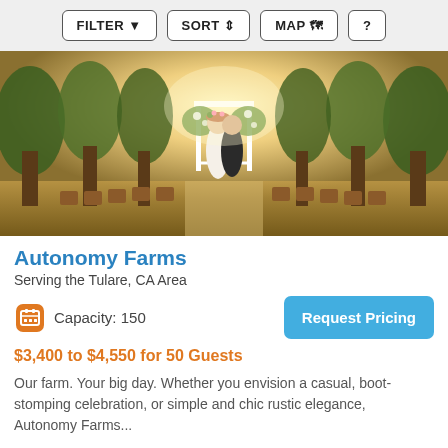FILTER  SORT  MAP  ?
[Figure (photo): Outdoor wedding ceremony with bride and groom standing under a floral arch surrounded by trees with rows of wooden chairs on each side, warm golden sunlight.]
Autonomy Farms
Serving the Tulare, CA Area
Capacity: 150
Request Pricing
$3,400 to $4,550 for 50 Guests
Our farm. Your big day. Whether you envision a casual, boot-stomping celebration, or simple and chic rustic elegance, Autonomy Farms...